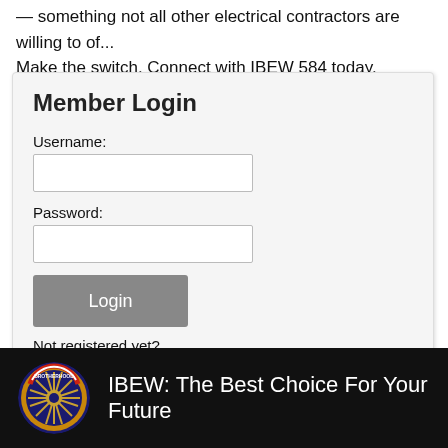something not all other electrical contractors are willing to of... Make the switch. Connect with IBEW 584 today.
Member Login
Username:
Password:
Not registered yet?
Click Here to sign-up
Forgot Your Login?
IBEW: The Best Choice For Your Future